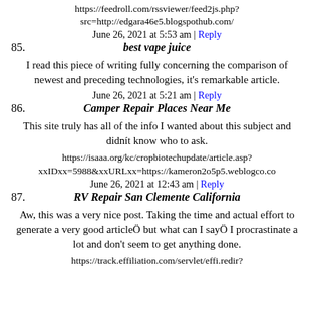https://feedroll.com/rssviewer/feed2js.php?src=http://edgara46e5.blogspothub.com/
June 26, 2021 at 5:53 am | Reply
85. best vape juice
I read this piece of writing fully concerning the comparison of newest and preceding technologies, it's remarkable article.
June 26, 2021 at 5:21 am | Reply
86. Camper Repair Places Near Me
This site truly has all of the info I wanted about this subject and didnít know who to ask.
https://isaaa.org/kc/cropbiotechupdate/article.asp?xxIDxx=5988&xxURLxx=https://kameron2o5p5.weblogco.co
June 26, 2021 at 12:43 am | Reply
87. RV Repair San Clemente California
Aw, this was a very nice post. Taking the time and actual effort to generate a very good articleÖ but what can I sayÖ I procrastinate a lot and don't seem to get anything done.
https://track.effiliation.com/servlet/effi.redir?